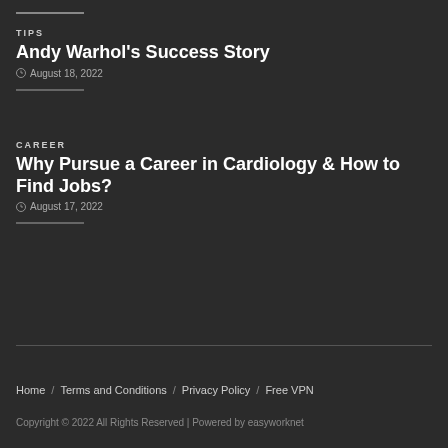TIPS
Andy Warhol's Success Story
August 18, 2022
CAREER
Why Pursue a Career in Cardiology & How to Find Jobs?
August 17, 2022
Home / Terms and Conditions / Privacy Policy / Free VPN
Copyright © 2022 All Rights Reserved | Powered by easyworknet